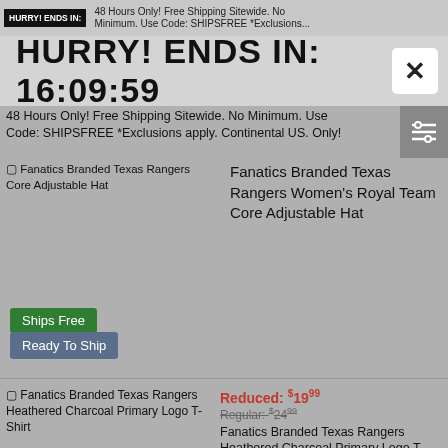HURRY! ENDS IN:
48 Hours Only! Free Shipping Sitewide. No Minimum. Use Code: SHIPSFREE *Exclusions apply. Continental US. Only!
HURRY! ENDS IN: 16:09:59
[Figure (screenshot): Product thumbnail image placeholder for Fanatics Branded Texas Rangers Core Adjustable Hat]
48 Hours Only! Free Shipping Sitewide. No Minimum. Use Code: SHIPSFREE *Exclusions apply. Continental US. Only!
Fanatics Branded Texas Rangers Women's Royal Team Core Adjustable Hat
Ships Free
Ready To Ship
[Figure (screenshot): Product thumbnail image placeholder for Fanatics Branded Texas Rangers Heathered Charcoal Primary Logo T-Shirt]
Fanatics Branded Texas Rangers Heathered Charcoal Primary Logo T-Shirt
Reduced: $19.99 Regular: $24.99
Fanatics Branded Texas Rangers Heathered Charcoal Primary Logo T-Shirt